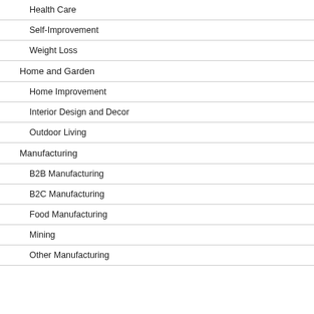Health Care
Self-Improvement
Weight Loss
Home and Garden
Home Improvement
Interior Design and Decor
Outdoor Living
Manufacturing
B2B Manufacturing
B2C Manufacturing
Food Manufacturing
Mining
Other Manufacturing